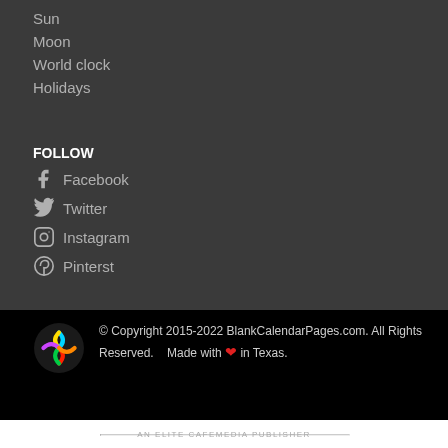Sun
Moon
World clock
Holidays
FOLLOW
Facebook
Twitter
Instagram
Pinterst
© Copyright 2015-2022 BlankCalendarPages.com. All Rights Reserved. Made with ❤ in Texas.
AN ELITE CAFEMEDIA PUBLISHER